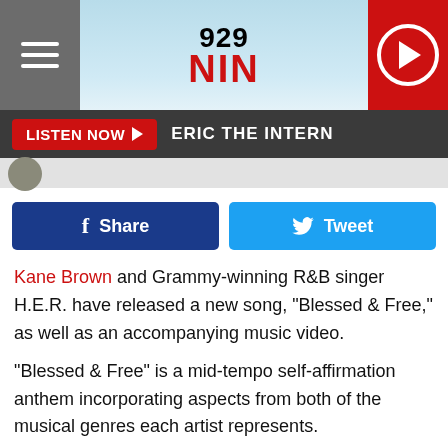929 NIN — radio station website header with hamburger menu and play button
LISTEN NOW ▶  ERIC THE INTERN
[Figure (screenshot): Facebook Share button (dark blue) and Twitter Tweet button (light blue) side by side]
Kane Brown and Grammy-winning R&B singer H.E.R. have released a new song, "Blessed & Free," as well as an accompanying music video.
"Blessed & Free" is a mid-tempo self-affirmation anthem incorporating aspects from both of the musical genres each artist represents.
"As long as my eyes still see / As long as my heart still beats / As long as I'm alive I'm free / So I don't count on nothin' / Don't ever stop runnin' / I ain't hurtin' nobody / So just let me